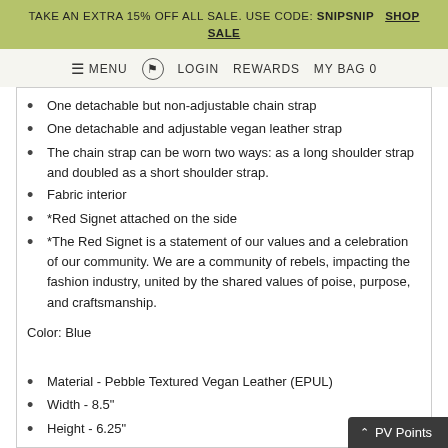TAKE AN EXTRA 15% OFF ALL SALE. USE CODE: SNIPSNIP  SHOP SALE
≡ MENU  ⊕  LOGIN  REWARDS  MY BAG 0
One detachable but non-adjustable chain strap
One detachable and adjustable vegan leather strap
The chain strap can be worn two ways: as a long shoulder strap and doubled as a short shoulder strap.
Fabric interior
*Red Signet attached on the side
*The Red Signet is a statement of our values and a celebration of our community. We are a community of rebels, impacting the fashion industry, united by the shared values of poise, purpose, and craftsmanship.
Color: Blue
Material - Pebble Textured Vegan Leather (EPUL)
Width - 8.5"
Height - 6.25"